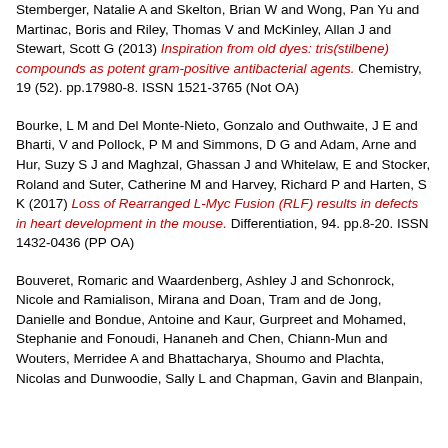Stemberger, Natalie A and Skelton, Brian W and Wong, Pan Yu and Martinac, Boris and Riley, Thomas V and McKinley, Allan J and Stewart, Scott G (2013) Inspiration from old dyes: tris(stilbene) compounds as potent gram-positive antibacterial agents. Chemistry, 19 (52). pp.17980-8. ISSN 1521-3765 (Not OA)
Bourke, L M and Del Monte-Nieto, Gonzalo and Outhwaite, J E and Bharti, V and Pollock, P M and Simmons, D G and Adam, Arne and Hur, Suzy S J and Maghzal, Ghassan J and Whitelaw, E and Stocker, Roland and Suter, Catherine M and Harvey, Richard P and Harten, S K (2017) Loss of Rearranged L-Myc Fusion (RLF) results in defects in heart development in the mouse. Differentiation, 94. pp.8-20. ISSN 1432-0436 (PP OA)
Bouveret, Romaric and Waardenberg, Ashley J and Schonrock, Nicole and Ramialison, Mirana and Doan, Tram and de Jong, Danielle and Bondue, Antoine and Kaur, Gurpreet and Mohamed, Stephanie and Fonoudi, Hananeh and Chen, Chiann-Mun and Wouters, Merridee A and Bhattacharya, Shoumo and Plachta, Nicolas and Dunwoodie, Sally L and Chapman, Gavin and Blanpain,